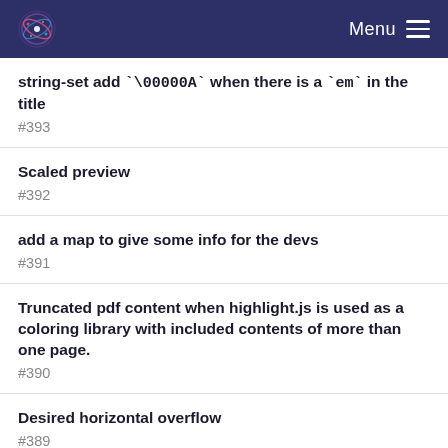Menu
string-set add `\00000A` when there is a `em` in the title
#393
Scaled preview
#392
add a map to give some info for the devs
#391
Truncated pdf content when highlight.js is used as a coloring library with included contents of more than one page.
#390
Desired horizontal overflow
#389
Infinite pagination when using custom HTML tags in Google